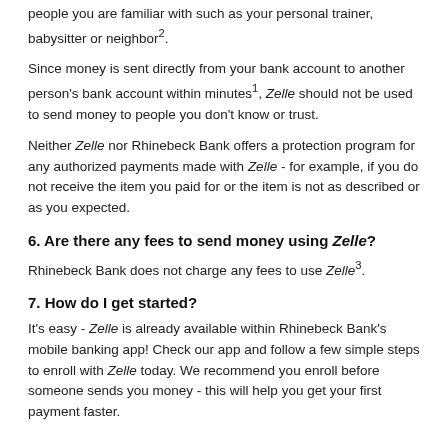people you are familiar with such as your personal trainer, babysitter or neighbor².
Since money is sent directly from your bank account to another person's bank account within minutes¹, Zelle should not be used to send money to people you don't know or trust.
Neither Zelle nor Rhinebeck Bank offers a protection program for any authorized payments made with Zelle - for example, if you do not receive the item you paid for or the item is not as described or as you expected.
6. Are there any fees to send money using Zelle?
Rhinebeck Bank does not charge any fees to use Zelle³.
7. How do I get started?
It's easy - Zelle is already available within Rhinebeck Bank's mobile banking app! Check our app and follow a few simple steps to enroll with Zelle today. We recommend you enroll before someone sends you money - this will help you get your first payment faster.